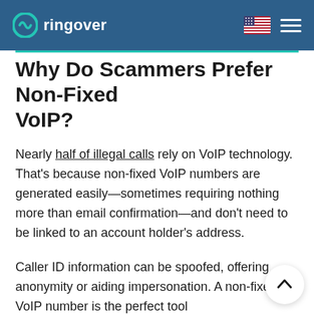ringover
Why Do Scammers Prefer Non-Fixed VoIP?
Nearly half of illegal calls rely on VoIP technology. That's because non-fixed VoIP numbers are generated easily—sometimes requiring nothing more than email confirmation—and don't need to be linked to an account holder's address.
Caller ID information can be spoofed, offering anonymity or aiding impersonation. A non-fixed VoIP number is the perfect tool